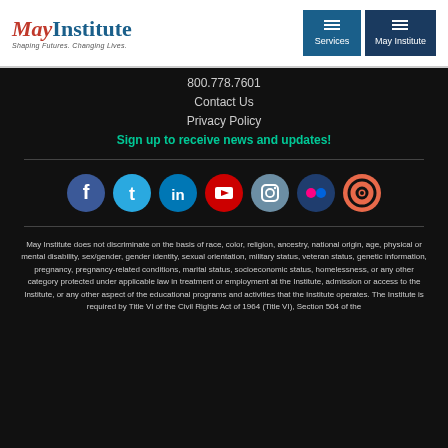[Figure (logo): May Institute logo with tagline 'Shaping Futures. Changing Lives.']
[Figure (other): Navigation buttons: Services and May Institute with hamburger menu icons]
800.778.7601
Contact Us
Privacy Policy
Sign up to receive news and updates!
[Figure (other): Social media icons row: Facebook, Twitter, LinkedIn, YouTube, Instagram, Flickr, and one more circular icon]
May Institute does not discriminate on the basis of race, color, religion, ancestry, national origin, age, physical or mental disability, sex/gender, gender identity, sexual orientation, military status, veteran status, genetic information, pregnancy, pregnancy-related conditions, marital status, socioeconomic status, homelessness, or any other category protected under applicable law in treatment or employment at the Institute, admission or access to the Institute, or any other aspect of the educational programs and activities that the Institute operates. The Institute is required by Title VI of the Civil Rights Act of 1964 (Title VI), Section 504 of the